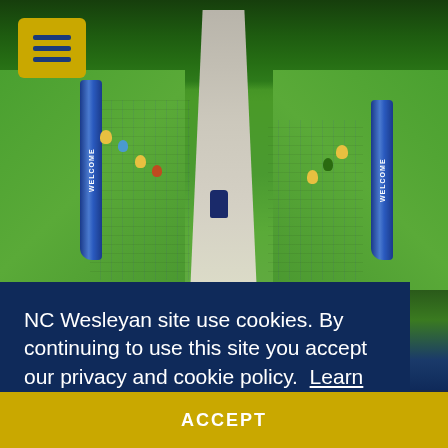[Figure (photo): Aerial view of NC Wesleyan University welcome event on campus walkway. Students and staff line a concrete path flanked by green lawns. Two blue 'WELCOME' banner flags stand on either side. Trees visible in background. A gold hamburger menu button is in top-left corner.]
NC Wesleyan site use cookies. By continuing to use this site you accept our privacy and cookie policy. Learn more
ACCEPT